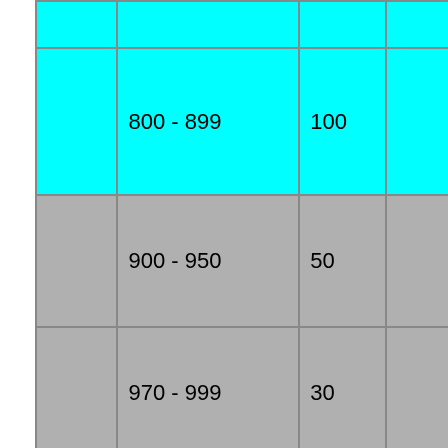|  |  |  |  |  |
| --- | --- | --- | --- | --- |
|  |  |  |  |  |
|  | 800 - 899 | 100 |  | NDPF |
|  | 900 - 950 | 50 |  | NDPF |
|  | 970 - 999 | 30 |  | NDPF |
|  | 970 | 1 | dpmmgr | ELPROD |
|  | 981 | 1 | scas | ELPROD |
|  | 982 | 1 | glexec | ELPROD |
|  |  |  |  |  |